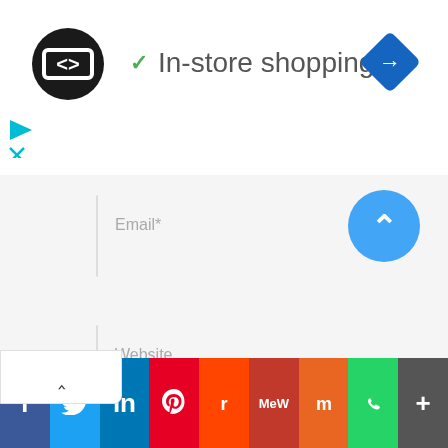[Figure (logo): Black circle logo with double arrows/infinity symbol in white]
In-store shopping
[Figure (logo): Blue diamond navigation icon with right-turn arrow]
[Figure (screenshot): Ad control icons: play triangle and X close button in cyan]
[Figure (screenshot): Collapsed panel with upward caret]
[Figure (screenshot): Email input field with placeholder text 'Email*']
[Figure (screenshot): Website input field with placeholder text 'Website']
name, email, and website in this browser for the next time I comment.
[Figure (other): Blue circular scroll-to-top button with upward chevron]
[Figure (infographic): Social sharing bar with Facebook, Twitter, LinkedIn, Pinterest, Reddit, MeWe, Mix, WhatsApp, and More buttons]